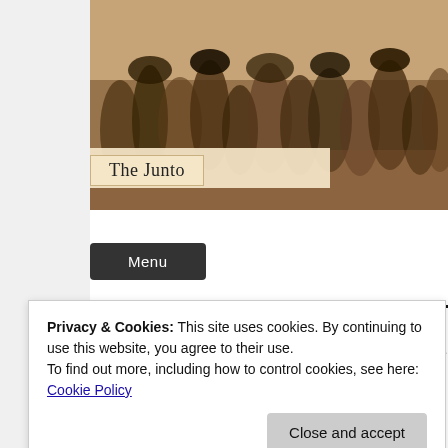[Figure (illustration): Vintage painted illustration of a group of people at a tavern/gathering, used as website banner for 'The Junto' blog. Colors are warm browns, tans, and ochres.]
The Junto
Menu
Tag Archives: Hunger
Roundtable Conclusion: Food and
Privacy & Cookies: This site uses cookies. By continuing to use this website, you agree to their use.
To find out more, including how to control cookies, see here: Cookie Policy
Close and accept
concludes our food